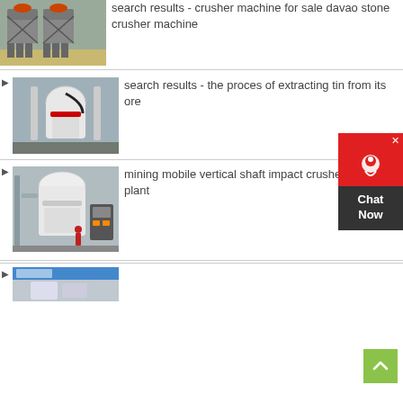[Figure (photo): Industrial cone crushers in a warehouse setting, grey metal frames with orange/red accents]
search results - crusher machine for sale davao stone crusher machine
[Figure (photo): Large white industrial grinding/milling machine in a factory]
search results - the process of extracting tin from its ore
[Figure (photo): Large white vertical shaft industrial milling machine in a plant facility with a worker in red]
mining mobile vertical shaft impact crusher crushing plant
[Figure (photo): Partial view of industrial machinery at bottom of page]